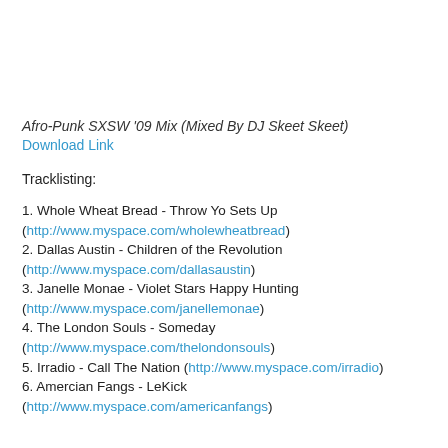Afro-Punk SXSW '09 Mix (Mixed By DJ Skeet Skeet)
Download Link
Tracklisting:
1. Whole Wheat Bread - Throw Yo Sets Up (http://www.myspace.com/wholewheatbread)
2. Dallas Austin - Children of the Revolution (http://www.myspace.com/dallasaustin)
3. Janelle Monae - Violet Stars Happy Hunting (http://www.myspace.com/janellemonae)
4. The London Souls - Someday (http://www.myspace.com/thelondonsouls)
5. Irradio - Call The Nation (http://www.myspace.com/irradio)
6. Amercian Fangs - LeKick (http://www.myspace.com/americanfangs)